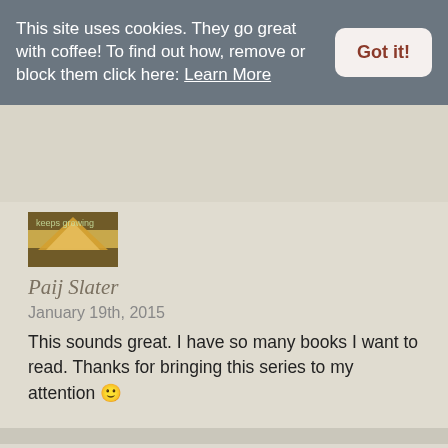This site uses cookies. They go great with coffee! To find out how, remove or block them click here: Learn More
Got it!
[Figure (photo): Partial book avatar image showing open book with orange/gold pages]
Paij Slater
January 19th, 2015
This sounds great. I have so many books I want to read. Thanks for bringing this series to my attention 🙂
[Figure (illustration): Red coffee cup with text 'Caffeinated' on it, on a white saucer]
Kimbacaffeinate
January 20th, 2015